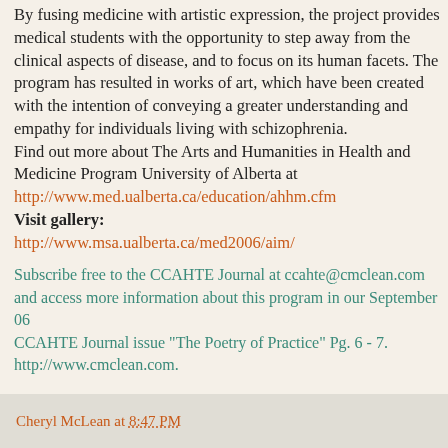By fusing medicine with artistic expression, the project provides medical students with the opportunity to step away from the clinical aspects of disease, and to focus on its human facets. The program has resulted in works of art, which have been created with the intention of conveying a greater understanding and empathy for individuals living with schizophrenia.
Find out more about The Arts and Humanities in Health and Medicine Program University of Alberta at http://www.med.ualberta.ca/education/ahhm.cfm
Visit gallery: http://www.msa.ualberta.ca/med2006/aim/
Subscribe free to the CCAHTE Journal at ccahte@cmclean.com and access more information about this program in our September 06
CCAHTE Journal issue "The Poetry of Practice" Pg. 6 - 7.
http://www.cmclean.com.
Cheryl McLean at 8:47 PM